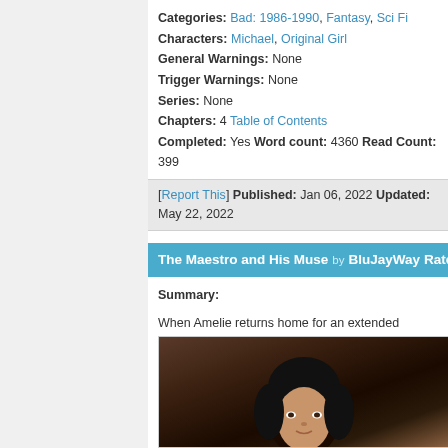Categories: Bad: 1986-1990, Fantasy, Sci Fi
Characters: Michael, Original Girl
General Warnings: None
Trigger Warnings: None
Series: None
Chapters: 4 Table of Contents
Completed: Yes Word count: 4360 Read Count: 399
[Report This] Published: Jan 06, 2022 Updated: May 22, 2022
The Maestro and His Muse by BluJayWay Rated: M ★★★★★
Summary:
When Amelie returns home for an extended sabbatical from school, she discovers the gothic mansion on the edge of town. When a rainy night brings her inside, she finds it kinder rather than creepy. As their friendship blossoms and as fantasy becomes real, cynicism or giving into her yearning for the magic of the unknown.
[Figure (photo): Photo of a person with dark hair against a dark warm-toned background]